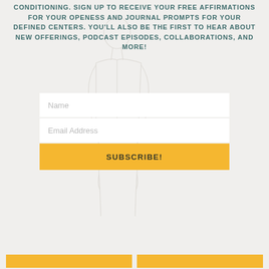CONDITIONING. SIGN UP TO RECEIVE YOUR FREE AFFIRMATIONS FOR YOUR OPENESS AND JOURNAL PROMPTS FOR YOUR DEFINED CENTERS. YOU'LL ALSO BE THE FIRST TO HEAR ABOUT NEW OFFERINGS, PODCAST EPISODES, COLLABORATIONS, AND MORE!
[Figure (illustration): Light gray decorative line art illustration of a human body silhouette/figure in the background]
Name
Email Address
SUBSCRIBE!